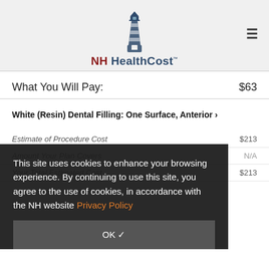[Figure (logo): NH HealthCost lighthouse logo with text]
What You Will Pay: $63
White (Resin) Dental Filling: One Surface, Anterior >
|  |  |
| --- | --- |
| Estimate of Procedure Cost | $213 |
| Amount Your Plan Covers | N/A |
| Your Total Estimated Cost | $213 |
This site uses cookies to enhance your browsing experience. By continuing to use this site, you agree to the use of cookies, in accordance with the NH website Privacy Policy
OK ✓